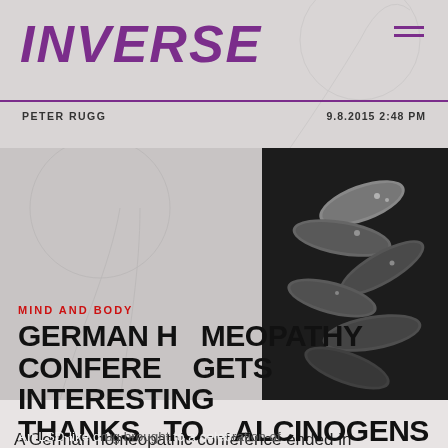INVERSE
PETER RUGG
9.8.2015 2:48 PM
[Figure (photo): Black and white close-up photo of multiple capsule pills in a hand, dark background]
MIND AND BODY
GERMAN HOMEOPATHY CONFERENCE GETS INTERESTING THANKS TO HALLUCINOGENS
An LSD-like drug brought to a celebration of pseudoscience
A German homeopathic conference ended in